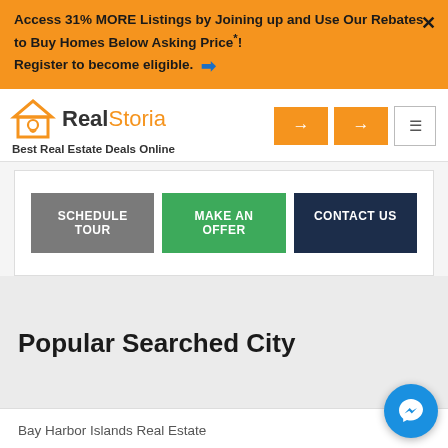Access 31% MORE Listings by Joining up and Use Our Rebates to Buy Homes Below Asking Price*! Register to become eligible.
[Figure (logo): RealStoria logo with house icon. Text reads: Real (dark) Storia (orange). Tagline: Best Real Estate Deals Online.]
SCHEDULE TOUR
MAKE AN OFFER
CONTACT US
Popular Searched City
Bay Harbor Islands Real Estate